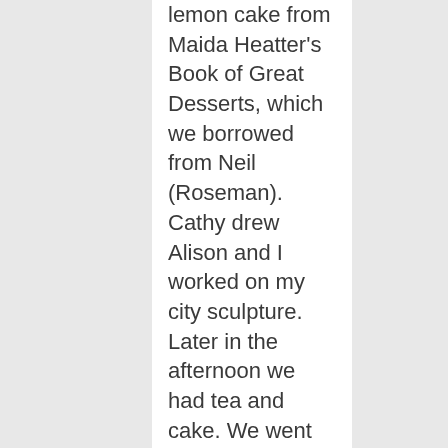lemon cake from Maida Heatter's Book of Great Desserts, which we borrowed from Neil (Roseman). Cathy drew Alison and I worked on my city sculpture. Later in the afternoon we had tea and cake. We went to the Sapnish restaurant and picked up Jeffy. We payed Alison for the